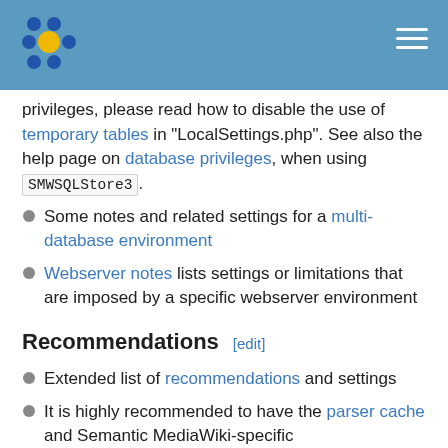Semantic MediaWiki wiki page header with logo and navigation menu
privileges, please read how to disable the use of temporary tables in "LocalSettings.php". See also the help page on database privileges, when using SMWSQLStore3.
Some notes and related settings for a multi-database environment
Webserver notes lists settings or limitations that are imposed by a specific webserver environment
Recommendations [edit]
Extended list of recommendations and settings
It is highly recommended to have the parser cache and Semantic MediaWiki-specific